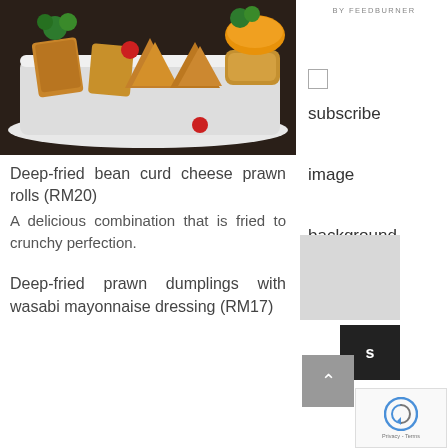[Figure (photo): Food photo showing deep-fried bean curd cheese prawn rolls and similar fried items on white serving platters with green parsley garnish, red cherry tomatoes, and orange dipping sauce on dark background]
Deep-fried bean curd cheese prawn rolls (RM20)
A delicious combination that is fried to crunchy perfection.
Deep-fried prawn dumplings with wasabi mayonnaise dressing (RM17)
BY FEEDBURNER
subscribe

image

background